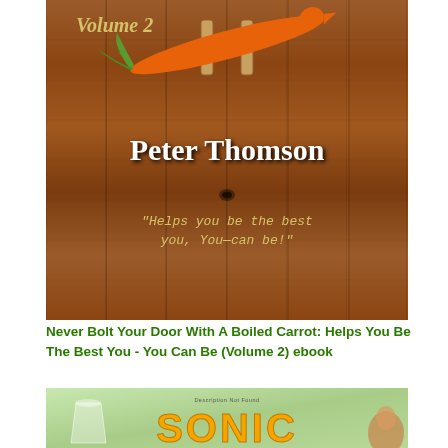[Figure (photo): Book cover of 'Never Bolt Your Door With A Boiled Carrot: Helps You Be The Best You - You Can Be (Volume 2)' by Peter Thomson. Features a wooden plank door/fence background with a carrot held by clothespins, author name in white text, and a yellow tagline in typewriter font.]
Never Bolt Your Door With A Boiled Carrot: Helps You Be The Best You - You Can Be (Volume 2) ebook
[Figure (photo): Partial book cover showing 'SONIC' in large orange letters on a green background with illustrated characters.]